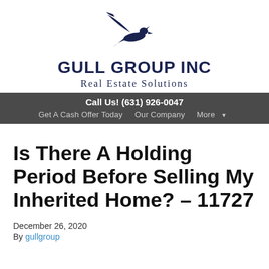[Figure (logo): Gull Group Inc logo with a blue seagull bird illustration above the company name]
GULL GROUP INC
Real Estate Solutions
Call Us! (631) 926-0047  Get A Cash Offer Today  Our Company  More ▾
Is There A Holding Period Before Selling My Inherited Home? – 11727
December 26, 2020
By gullgroup